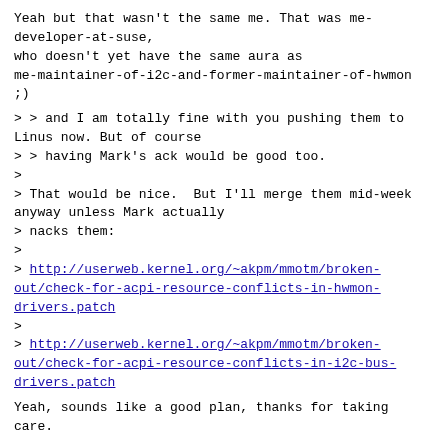Yeah but that wasn't the same me. That was me-developer-at-suse,
who doesn't yet have the same aura as
me-maintainer-of-i2c-and-former-maintainer-of-hwmon ;)
> > and I am totally fine with you pushing them to Linus now. But of course
> > having Mark's ack would be good too.
>
> That would be nice.  But I'll merge them mid-week anyway unless Mark actually
> nacks them:
>
> http://userweb.kernel.org/~akpm/mmotm/broken-out/check-for-acpi-resource-conflicts-in-hwmon-drivers.patch
>
> http://userweb.kernel.org/~akpm/mmotm/broken-out/check-for-acpi-resource-conflicts-in-i2c-bus-drivers.patch
Yeah, sounds like a good plan, thanks for taking care.
--
Jean Delvare
^ permalink  raw  reply   [flat|nested]  7+ messages in thread